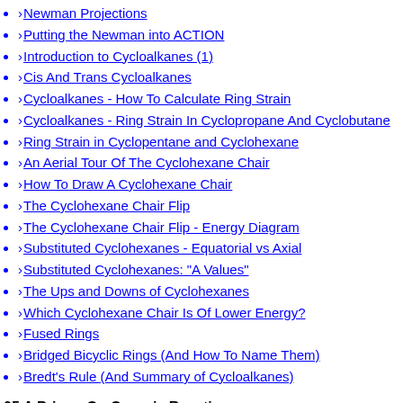Newman Projections
Putting the Newman into ACTION
Introduction to Cycloalkanes (1)
Cis And Trans Cycloalkanes
Cycloalkanes - How To Calculate Ring Strain
Cycloalkanes - Ring Strain In Cyclopropane And Cyclobutane
Ring Strain in Cyclopentane and Cyclohexane
An Aerial Tour Of The Cyclohexane Chair
How To Draw A Cyclohexane Chair
The Cyclohexane Chair Flip
The Cyclohexane Chair Flip - Energy Diagram
Substituted Cyclohexanes - Equatorial vs Axial
Substituted Cyclohexanes: "A Values"
The Ups and Downs of Cyclohexanes
Which Cyclohexane Chair Is Of Lower Energy?
Fused Rings
Bridged Bicyclic Rings (And How To Name Them)
Bredt's Rule (And Summary of Cycloalkanes)
05 A Primer On Organic Reactions
The Most Important Question To Ask When Learning a New Reaction
The 4 Major Classes of Reactions in Org 1